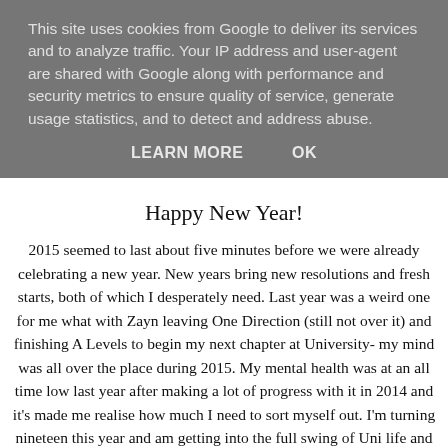This site uses cookies from Google to deliver its services and to analyze traffic. Your IP address and user-agent are shared with Google along with performance and security metrics to ensure quality of service, generate usage statistics, and to detect and address abuse.
LEARN MORE   OK
Happy New Year!
2015 seemed to last about five minutes before we were already celebrating a new year. New years bring new resolutions and fresh starts, both of which I desperately need. Last year was a weird one for me what with Zayn leaving One Direction (still not over it) and finishing A Levels to begin my next chapter at University- my mind was all over the place during 2015. My mental health was at an all time low last year after making a lot of progress with it in 2014 and it's made me realise how much I need to sort myself out. I'm turning nineteen this year and am getting into the full swing of Uni life and adulthood and so I've decided that it's time to really focus on myself. I don't particularly want to create the cliché